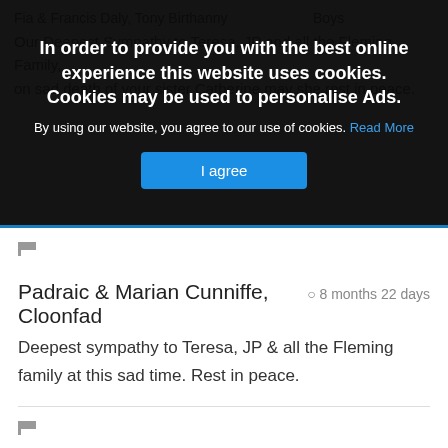In order to provide you with the best online experience this website uses cookies. Cookies may be used to personalise Ads.
By using our website, you agree to our use of cookies. Read More
I agree
Padraic & Marian Cunniffe, Cloonfad   8 months 22 days
Deepest sympathy to Teresa, JP & all the Fleming family at this sad time. Rest in peace.
Johnny & Daisy Moran,   8 months 22 days